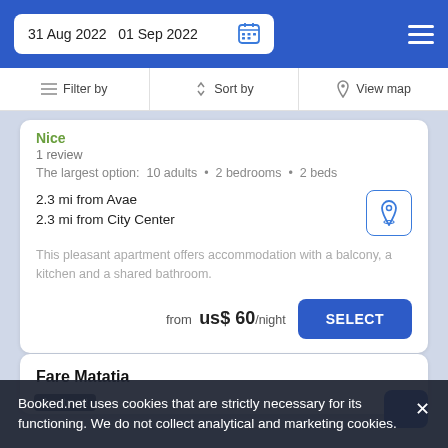31 Aug 2022  01 Sep 2022
Filter by  Sort by  View map
Nice
1 review
The largest option:  10 adults  •  2 bedrooms  •  2 beds
2.3 mi from Avae
2.3 mi from City Center
This pleasant apartment offers accommodation with a balcony, a kitchen and a shared bathroom.
from  us$ 60/night
SELECT
Fare Matatia
Apartment
Booked.net uses cookies that are strictly necessary for its functioning. We do not collect analytical and marketing cookies.